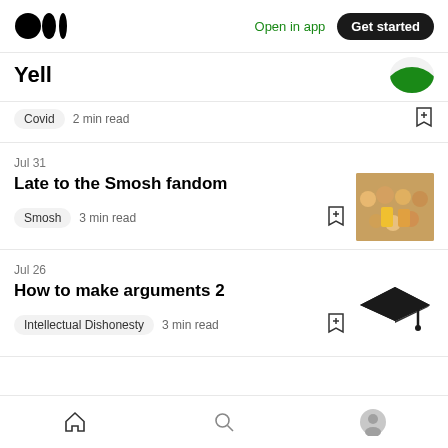Medium logo | Open in app | Get started
Covid  2 min read
Jul 31
Late to the Smosh fandom
Smosh  3 min read
Jul 26
How to make arguments 2
Intellectual Dishonesty  3 min read
Home | Search | Profile